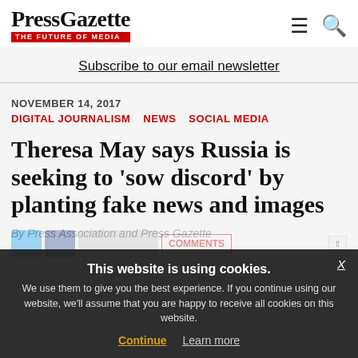PressGazette — THE FUTURE OF MEDIA
Subscribe to our email newsletter
NOVEMBER 14, 2017
DIGITAL JOURNALISM   NEWS   SOCIAL MEDIA
Theresa May says Russia is seeking to 'sow discord' by planting fake news and images
By Press Association and Press Gazette
This website is using cookies. We use them to give you the best experience. If you continue using our website, we'll assume that you are happy to receive all cookies on this website. Continue  Learn more